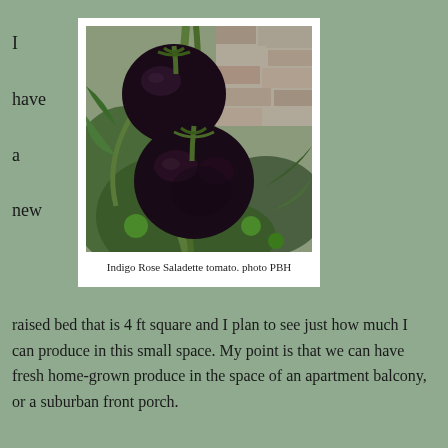I have a new
[Figure (photo): Close-up photo of dark purple/black Indigo Rose Saladette tomatoes on the vine with green leaves and a stone wall in the background]
Indigo Rose Saladette tomato. photo PBH
raised bed that is 4 ft square and I plan to see just how much I can produce in this small space. My point is that we can have fresh home-grown produce in the space of an apartment balcony, or a suburban front porch.